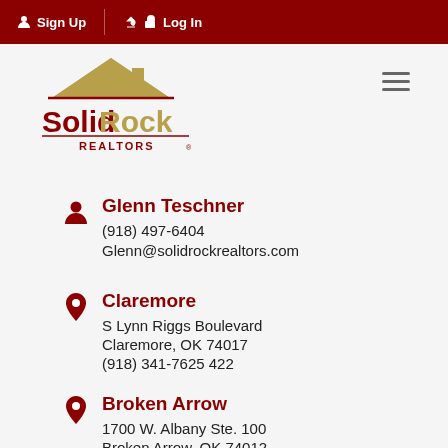Sign Up  Log In
[Figure (logo): Solid Rock Realtors logo with house roof icon, dark red and gold colors]
Glenn Teschner
(918) 497-6404
Glenn@solidrockrealtors.com
Claremore
S Lynn Riggs Boulevard
Claremore, OK 74017
(918) 341-7625 422
Broken Arrow
1700 W. Albany Ste. 100
Broken Arrow, OK 74012